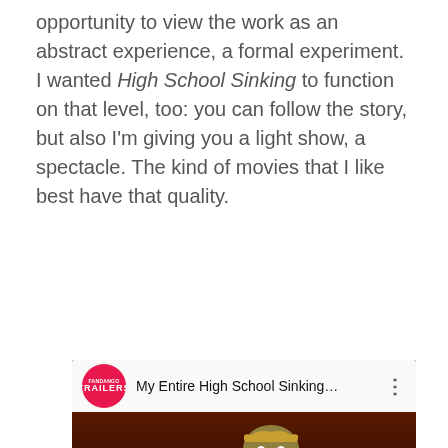opportunity to view the work as an abstract experience, a formal experiment. I wanted High School Sinking to function on that level, too: you can follow the story, but also I'm giving you a light show, a spectacle. The kind of movies that I like best have that quality.
[Figure (screenshot): Embedded YouTube video player showing trailer for 'My Entire High School Sinking...' with animated cartoon characters on a dark red background. Shows TRAILERS channel logo, video title, play button, TRAILER label, and FANDANGO HD branding.]